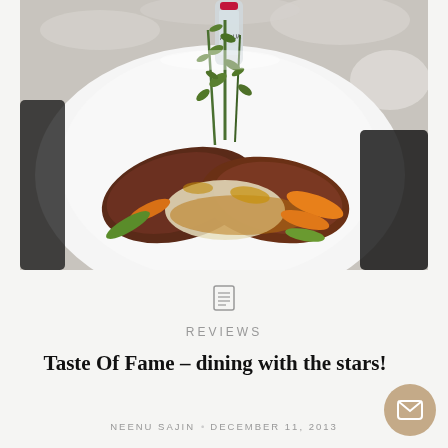[Figure (photo): A restaurant plate with sliced braised beef/meat, vegetables including carrots and green peppers, risotto or mashed potatoes, with fresh thyme sprigs as garnish, on a white plate. An Acqua Panna water bottle is visible in the background on a marble table.]
Taste Of Fame – dining with the stars!
REVIEWS
NEENU SAJIN · DECEMBER 11, 2013